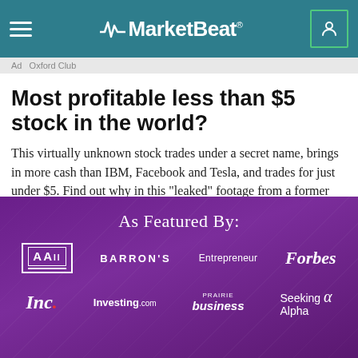MarketBeat
Ad  Oxford Club
Most profitable less than $5 stock in the world?
This virtually unknown stock trades under a secret name, brings in more cash than IBM, Facebook and Tesla, and trades for just under $5. Find out why in this "leaked" footage from a former Wall Street money manager.
As Featured By:
[Figure (logo): Logos of media outlets: AAII, BARRON'S, Entrepreneur, Forbes, Inc., Investing.com, PRAIRIE business, Seeking Alpha]